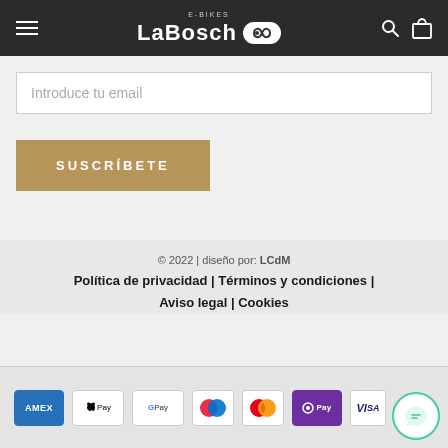LaBosch E-BIKES navigation bar with hamburger menu, logo, search and bag icons
Introduce tu email
SUSCRÍBETE
© 2022 | diseño por: LCdM
Política de privacidad | Términos y condiciones | Aviso legal | Cookies
[Figure (other): Payment method badges: American Express, Apple Pay, Google Pay, Maestro, Mastercard, Samsung Pay (O Pay), Visa]